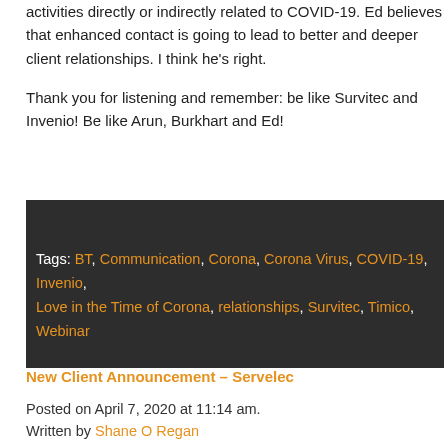activities directly or indirectly related to COVID-19. Ed believes that enhanced contact is going to lead to better and deeper client relationships. I think he’s right.

Thank you for listening and remember: be like Survitec and Invenio! Be like Arun, Burkhart and Ed!
Tags: BT, Communication, Corona, Corona Virus, COVID-19, Invenio, Love in the Time of Corona, relationships, Survitec, Timico, Webinar
New Client Announcement – Servelec
Posted on April 7, 2020 at 11:14 am.
Written by Shane O Regan